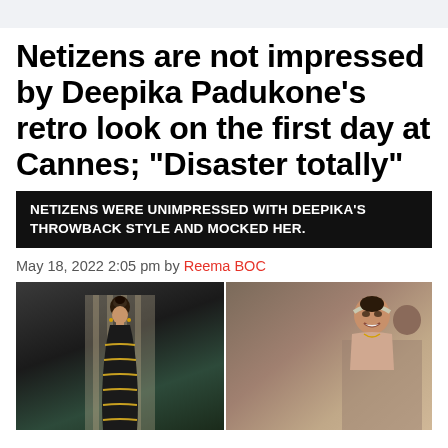Netizens are not impressed by Deepika Padukone’s retro look on the first day at Cannes; “Disaster totally”
NETIZENS WERE UNIMPRESSED WITH DEEPIKA’S THROWBACK STYLE AND MOCKED HER.
May 18, 2022 2:05 pm by Reema BOC
[Figure (photo): Two side-by-side photos of Deepika Padukone: left shows her in a black and gold saree-style outfit with an updo hairstyle, right shows her smiling at Cannes with a headband and surrounded by people.]